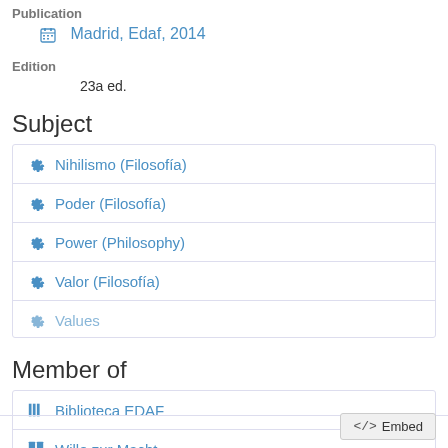Publication
Madrid, Edaf, 2014
Edition
23a ed.
Subject
Nihilismo (Filosofía)
Poder (Filosofía)
Power (Philosophy)
Valor (Filosofía)
Values
Member of
Biblioteca EDAF
Wille zur Macht
</> Embed